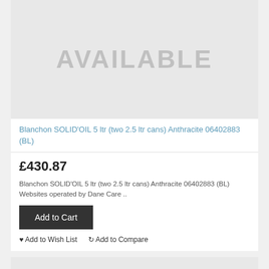[Figure (illustration): Product image placeholder with 'AVAILABLE' text on light grey background]
Blanchon SOLID'OIL 5 ltr (two 2.5 ltr cans) Anthracite 06402883 (BL)
£430.87
Blanchon SOLID'OIL 5 ltr (two 2.5 ltr cans) Anthracite 06402883 (BL) Websites operated by Dane Care ..
Add to Cart
Add to Wish List  Add to Compare
[Figure (illustration): Second product image placeholder with 'NO IMAGE' text on light grey background]